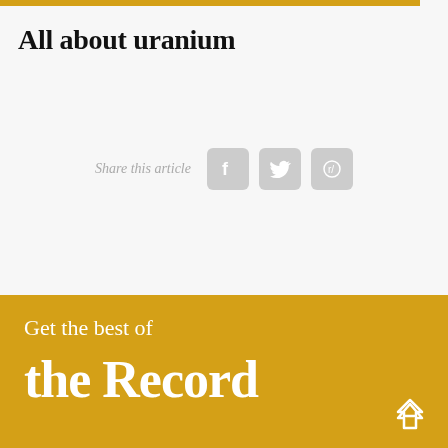All about uranium
Share this article
Get the best of
the Record